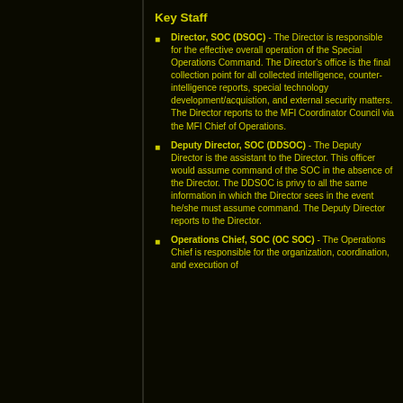Key Staff
Director, SOC (DSOC) - The Director is responsible for the effective overall operation of the Special Operations Command. The Director's office is the final collection point for all collected intelligence, counter-intelligence reports, special technology development/acquistion, and external security matters. The Director reports to the MFI Coordinator Council via the MFI Chief of Operations.
Deputy Director, SOC (DDSOC) - The Deputy Director is the assistant to the Director. This officer would assume command of the SOC in the absence of the Director. The DDSOC is privy to all the same information in which the Director sees in the event he/she must assume command. The Deputy Director reports to the Director.
Operations Chief, SOC (OC SOC) - The Operations Chief is responsible for the organization, coordination, and execution of